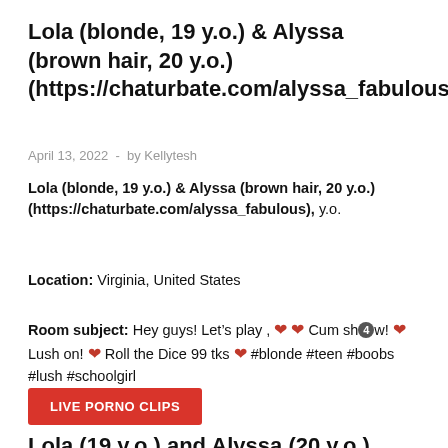Lola (blonde, 19 y.o.) & Alyssa (brown hair, 20 y.o.) (https://chaturbate.com/alyssa_fabulous)
April 13, 2022  -  by Kellytesh
Lola (blonde, 19 y.o.) & Alyssa (brown hair, 20 y.o.) (https://chaturbate.com/alyssa_fabulous), y.o.
Location: Virginia, United States
Room subject: Hey guys! Let’s play , ♥ ♥ Cum sh⑤0w! ♥ Lush on! ♥ Roll the Dice 99 tks ♥ #blonde #teen #boobs #lush #schoolgirl
LIVE PORNO CLIPS
Lola (19 y.o.) and Alyssa (20 y.o.)